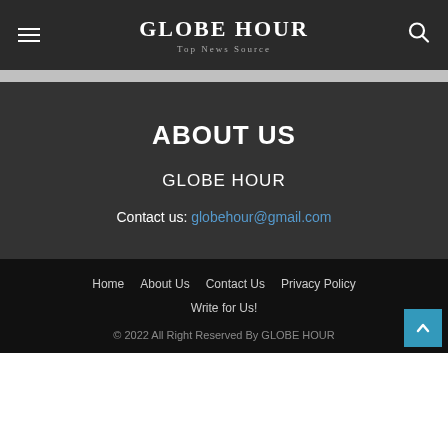GLOBE HOUR — Top News Source
ABOUT US
GLOBE HOUR
Contact us: globehour@gmail.com
Home  About Us  Contact Us  Privacy Policy  Write for Us!  © 2022 All Right Reserved By GLOBE HOUR